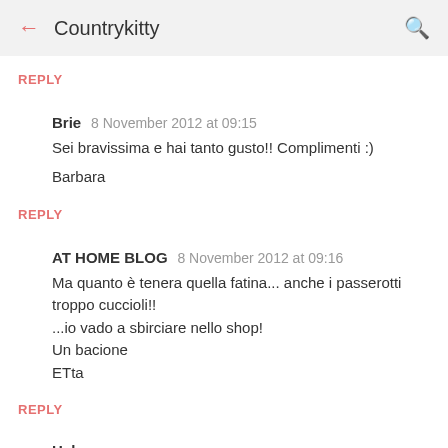← Countrykitty 🔍
REPLY
Brie  8 November 2012 at 09:15
Sei bravissima e hai tanto gusto!! Complimenti :)
Barbara
REPLY
AT HOME BLOG  8 November 2012 at 09:16
Ma quanto è tenera quella fatina... anche i passerotti troppo cuccioli!!
...io vado a sbirciare nello shop!
Un bacione
ETta
REPLY
Hel...